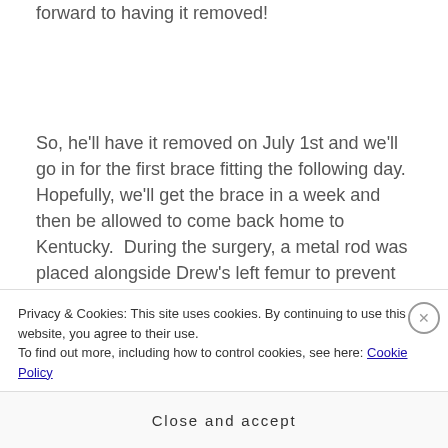forward to having it removed!
So, he'll have it removed on July 1st and we'll go in for the first brace fitting the following day. Hopefully, we'll get the brace in a week and then be allowed to come back home to Kentucky.  During the surgery, a metal rod was placed alongside Drew's left femur to prevent another fracture similar to what happened on the right during therapy so we'll
Privacy & Cookies: This site uses cookies. By continuing to use this website, you agree to their use.
To find out more, including how to control cookies, see here: Cookie Policy
Close and accept